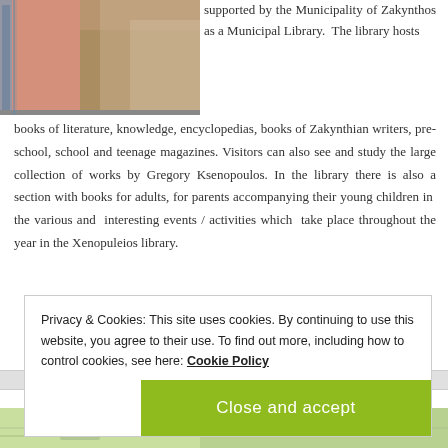[Figure (photo): Photo of a narrow alleyway between pink buildings, with blue metal railings on the left and a view down the passage.]
supported by the Municipality of Zakynthos as a Municipal Library. The library hosts books of literature, knowledge, encyclopedias, books of Zakynthian writers, pre-school, school and teenage magazines. Visitors can also see and study the large collection of works by Gregory Ksenopoulos. In the library there is also a section with books for adults, for parents accompanying their young children in the various and interesting events / activities which take place throughout the year in the Xenopuleios library.
Privacy & Cookies: This site uses cookies. By continuing to use this website, you agree to their use. To find out more, including how to control cookies, see here: Cookie Policy
Close and accept
[Figure (map): Partial view of a map at the bottom of the page.]